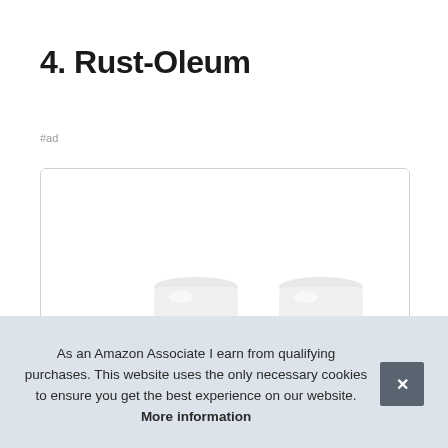4. Rust-Oleum
#ad
[Figure (photo): Two white spray can tops/caps of Rust-Oleum products partially visible inside a rounded-border product card]
As an Amazon Associate I earn from qualifying purchases. This website uses the only necessary cookies to ensure you get the best experience on our website. More information